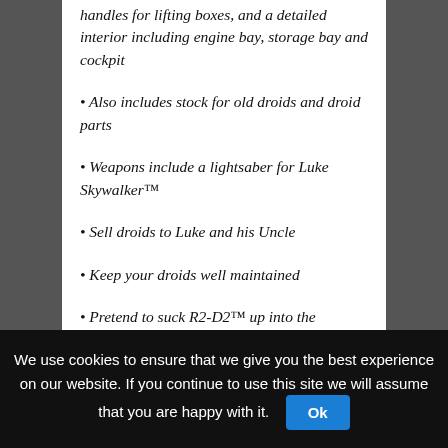handles for lifting boxes, and a detailed interior including engine bay, storage bay and cockpit
Also includes stock for old droids and droid parts
Weapons include a lightsaber for Luke Skywalker™
Sell droids to Luke and his Uncle
Keep your droids well maintained
Pretend to suck R2-D2™ up into the Sandcrawler™ – just like in the movie!
Own your own iconic vehicle from the classic Star Wars™ universe
Relive classic moments from Star Wars: Episode IV A New
We use cookies to ensure that we give you the best experience on our website. If you continue to use this site we will assume that you are happy with it.